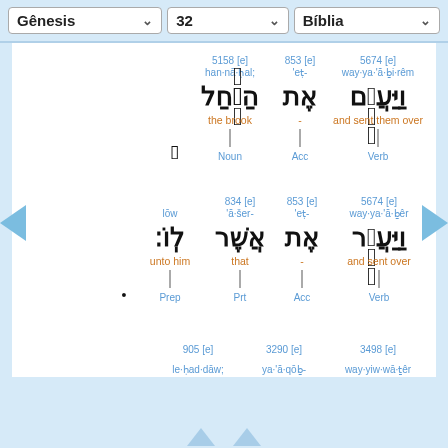Gênesis 32 Bíblia
5158 [e] han·nā·ḥal; | 853 [e] 'eṭ- | 5674 [e] way·ya·'ă·ḇi·rêm
Hebrew: הַנַּ֔חַל אֶת־ וַיַּעֲבִ֣ם
the brook - and sent them over | Noun Acc Verb
834 [e] lōw | 853 [e] 'ă·šer- | 853 [e] 'eṭ- | 5674 [e] way·ya·'ă·ḇêr
Hebrew: לֽוֹ׃ אֲשֶׁר־ אֶת־ וַיַּעֲבֵ֣ר
unto him that - and sent over | Prep Prt Acc Verb
905 [e] | 3290 [e] | 3498 [e]
le·ḥad·dāw; ya·'ă·qōḇ way·yiw·wā·ṯêr